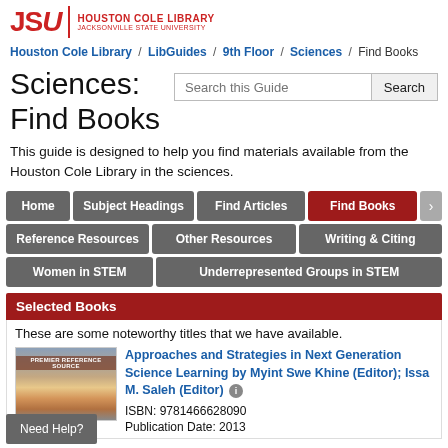[Figure (logo): JSU Houston Cole Library logo with red text]
Houston Cole Library / LibGuides / 9th Floor / Sciences / Find Books
Sciences: Find Books
This guide is designed to help you find materials available from the Houston Cole Library in the sciences.
Home
Subject Headings
Find Articles
Find Books
Reference Resources
Other Resources
Writing & Citing
Women in STEM
Underrepresented Groups in STEM
Selected Books
These are some noteworthy titles that we have available.
Approaches and Strategies in Next Generation Science Learning by Myint Swe Khine (Editor); Issa M. Saleh (Editor)
ISBN: 9781466628090
Publication Date: 2013